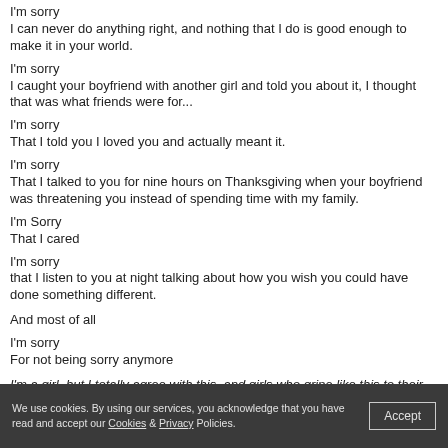I'm sorry
I can never do anything right, and nothing that I do is good enough to make it in your world.
I'm sorry
I caught your boyfriend with another girl and told you about it, I thought that was what friends were for...
I'm sorry
That I told you I loved you and actually meant it.
I'm sorry
That I talked to you for nine hours on Thanksgiving when your boyfriend was threatening you instead of spending time with my family.
I'm Sorry
That I cared
I'm sorry
that I listen to you at night talking about how you wish you could have done something different.
And most of all
I'm sorry
For not being sorry anymore
I'm a girl, but I totally agree with this, and girls who gripe like this to their
We use cookies. By using our services, you acknowledge that you have read and accept our Cookies & Privacy Policies.